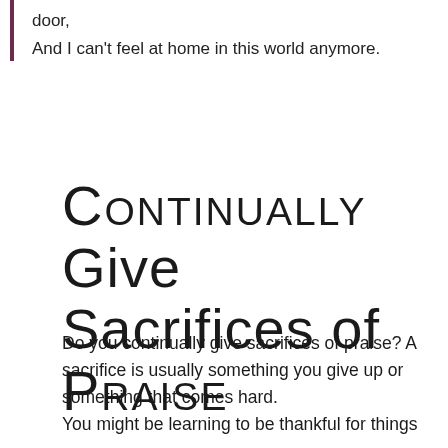door,
And I can't feel at home in this world anymore.
CONTINUALLY Give Sacrifices of PRAISE
Do you continually give sacrifices of praise? A sacrifice is usually something you give up or something that comes hard.
You might be learning to be thankful for things